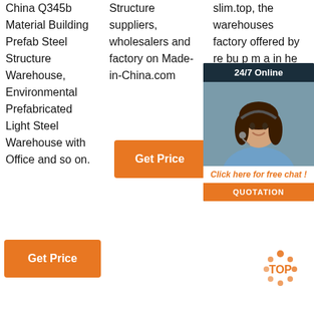China Q345b Material Building Prefab Steel Structure Warehouse, Environmental Prefabricated Light Steel Warehouse with Office and so on.
Structure suppliers, wholesalers and factory on Made-in-China.com
slim.top, the warehouses factory offered by ... workshops, big industrial projects, or even a high-rise.
[Figure (other): Chat widget with 24/7 Online banner, customer service photo, 'Click here for free chat!' text, and QUOTATION button]
[Figure (other): TOP badge watermark logo]